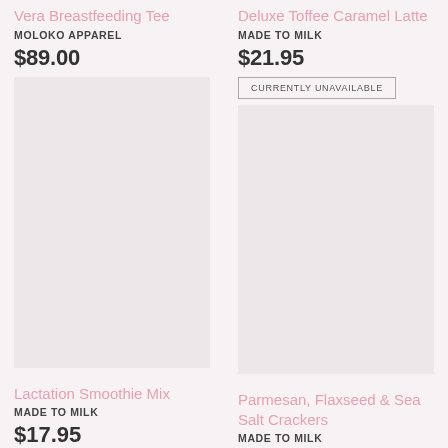Vera Breastfeeding Tee
MOLOKO APPAREL
$89.00
Deluxe Toffee Caramel Latte
MADE TO MILK
$21.95
CURRENTLY UNAVAILABLE
[Figure (photo): Product image placeholder for Vera Breastfeeding Tee]
[Figure (photo): Product image placeholder for Deluxe Toffee Caramel Latte]
Lactation Smoothie Mix
MADE TO MILK
$17.95
Parmesan, Flaxseed & Sea Salt Crackers
MADE TO MILK